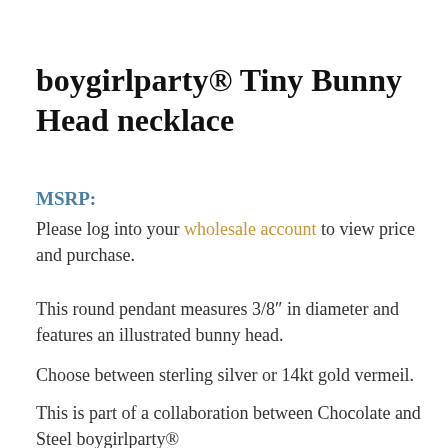boygirlparty® Tiny Bunny Head necklace
MSRP:
Please log into your wholesale account to view price and purchase.
This round pendant measures 3/8″ in diameter and features an illustrated bunny head.
Choose between sterling silver or 14kt gold vermeil.
This is part of a collaboration between Chocolate and Steel boygirlparty®
Illustrations © Susie Ghahremani / boygirlparty ® / Original design © Susie Ghahremani / boygirlparty ® /